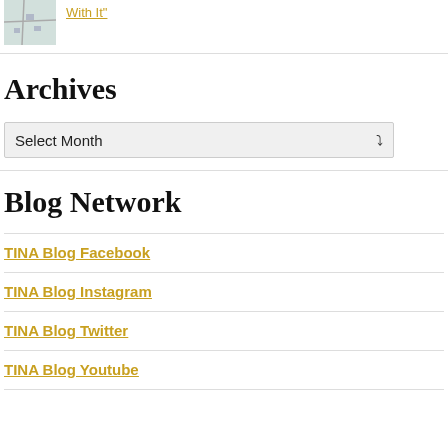[Figure (map): Small map thumbnail image]
With It"
Archives
Select Month
Blog Network
TINA Blog Facebook
TINA Blog Instagram
TINA Blog Twitter
TINA Blog Youtube